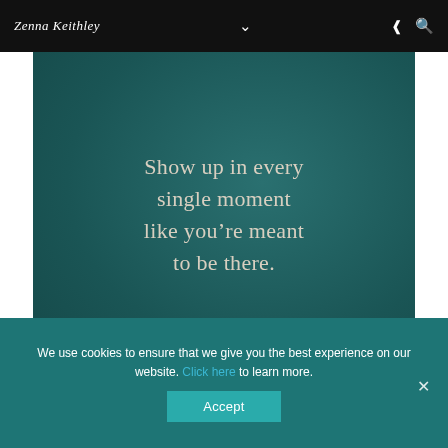Zenna Keithley
[Figure (illustration): Teal/dark green textured background with centered motivational quote text in light beige serif font: 'Show up in every single moment like you’re meant to be there.']
We use cookies to ensure that we give you the best experience on our website. Click here to learn more.
Accept